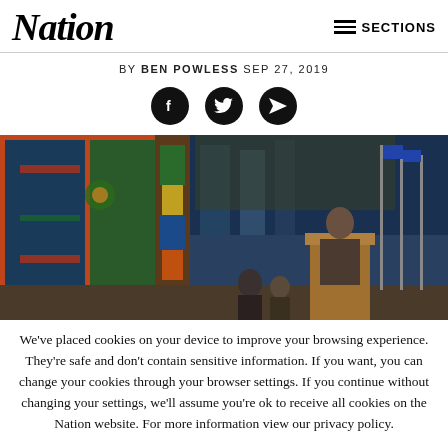Nation | SECTIONS
BY BEN POWLESS SEP 27, 2019
[Figure (photo): A woman speaks at a podium on a stage decorated with Indigenous Northwest Coast artwork and a totem pole. Flags are visible in the background on the right side.]
We've placed cookies on your device to improve your browsing experience. They're safe and don't contain sensitive information. If you want, you can change your cookies through your browser settings. If you continue without changing your settings, we'll assume you're ok to receive all cookies on the Nation website. For more information view our privacy policy.